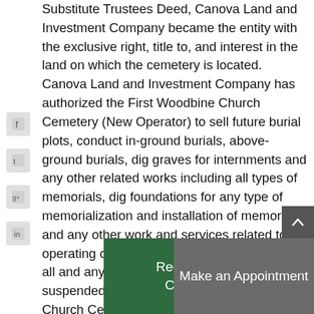Substitute Trustees Deed, Canova Land and Investment Company became the entity with the exclusive right, title to, and interest in the land on which the cemetery is located. Canova Land and Investment Company has authorized the First Woodbine Church Cemetery (New Operator) to sell future burial plots, conduct in-ground burials, above-ground burials, dig graves for internments and any other related works including all types of memorials, dig foundations for any type of memorialization and installation of memorials and any other work and services related to operating of the cemetery. However, currently all and any such activities are temporarily suspended till further notice. First Woodbine Church Cemetery will be ready, willing, and able to enter into new contracts for plots and burials at a later date which will be announced. First Woodbine Church Cemetery is also in the process of finalizing its rules, regulations, and fee schedule. First Woodbine Church Cemetery is and may contact any t...
[Figure (other): Social media sidebar icons: Facebook, Twitter, Google+, LinkedIn]
[Figure (other): Green button: Request a Free Consultation]
[Figure (other): Gray button: Make an Appointment]
[Figure (other): Dark gray scroll-to-top arrow button in bottom right]